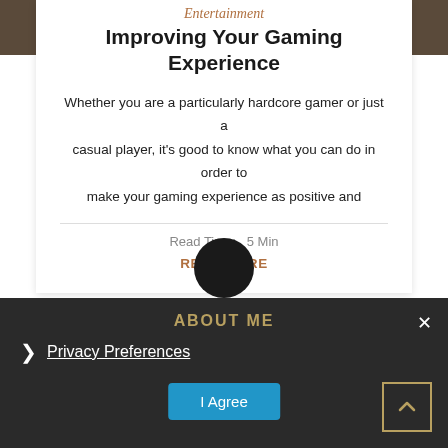Entertainment
Improving Your Gaming Experience
Whether you are a particularly hardcore gamer or just a casual player, it's good to know what you can do in order to make your gaming experience as positive and
Read Time:  5 Min
READ MORE
ABOUT ME
Privacy Preferences
I Agree